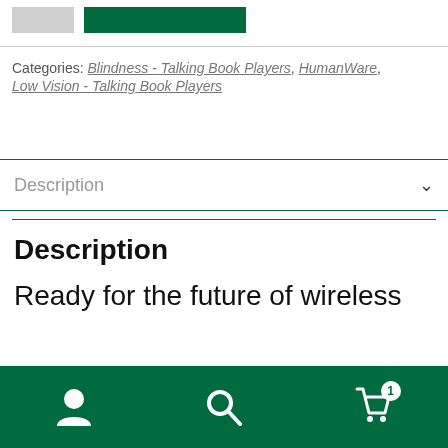[Figure (screenshot): Top strip with two thumbnail images: a gray rectangle and a green rectangle]
Categories: Blindness - Talking Book Players, HumanWare, Low Vision - Talking Book Players
Description
Description
Ready for the future of wireless
[Figure (screenshot): Bottom navigation bar with user icon, search icon, and cart icon with badge showing 1]